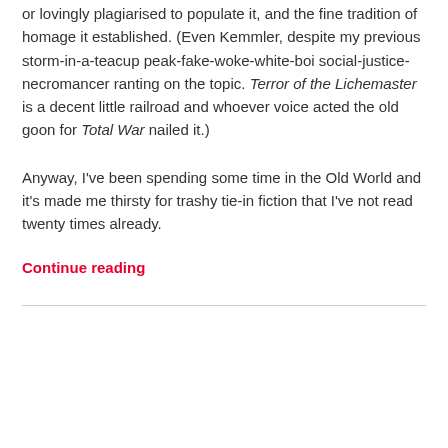or lovingly plagiarised to populate it, and the fine tradition of homage it established. (Even Kemmler, despite my previous storm-in-a-teacup peak-fake-woke-white-boi social-justice-necromancer ranting on the topic. Terror of the Lichemaster is a decent little railroad and whoever voice acted the old goon for Total War nailed it.)
Anyway, I've been spending some time in the Old World and it's made me thirsty for trashy tie-in fiction that I've not read twenty times already.
Continue reading